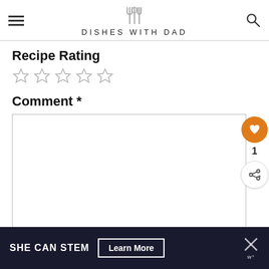DISHES WITH DAD
Recipe Rating
☆☆☆☆☆
Comment *
[Figure (screenshot): Empty comment text area input box]
[Figure (infographic): Floating action buttons: heart/like button (orange) with count '1', and share button]
[Figure (infographic): What's Next widget showing Instant Pot Farro with food image]
SHE CAN STEM  Learn More